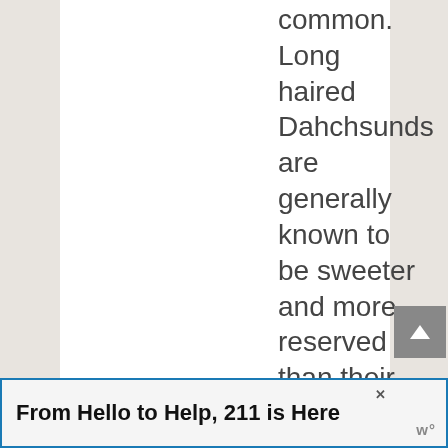common. Long haired Dahchsunds are generally known to be sweeter and more reserved than their smooth or wire counterparts.
[Figure (screenshot): Scroll to top button, grey square with upward arrow]
From Hello to Help, 211 is Here